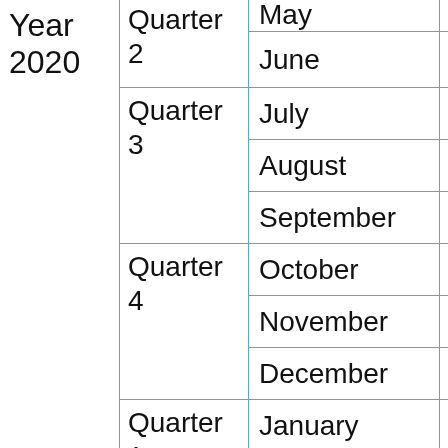| Year | Quarter | Month | Col1 | Col2 |
| --- | --- | --- | --- | --- |
| Year 2020 | Quarter 2 | May | 1 | 0 |
|  |  | June | 5 | 0 |
|  | Quarter 3 | July | 2 | 0 |
|  |  | August | 0 | 0 |
|  |  | September | 3 | 0 |
|  | Quarter 4 | October | 4 | 0 |
|  |  | November | 0 | 0 |
|  |  | December | 2 | 0 |
|  | Quarter 1 | January | 6 | 0 |
|  |  | February | 3 | 0 |
|  |  | March | 1 | 0 |